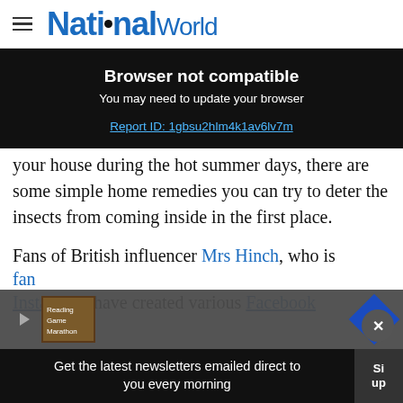National World
Browser not compatible
You may need to update your browser
Report ID: 1gbsu2hlm4k1av6lv7m
your house during the hot summer days, there are some simple home remedies you can try to deter the insects from coming inside in the first place.
Fans of British influencer Mrs Hinch, who is famous on Instagram, have created various Facebook
Get the latest newsletters emailed direct to you every morning